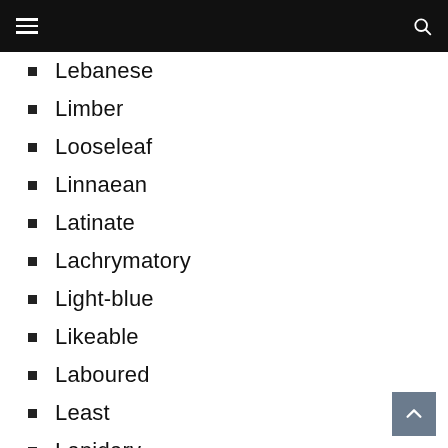Lebanese
Limber
Looseleaf
Linnaean
Latinate
Lachrymatory
Light-blue
Likeable
Laboured
Least
Lapidary